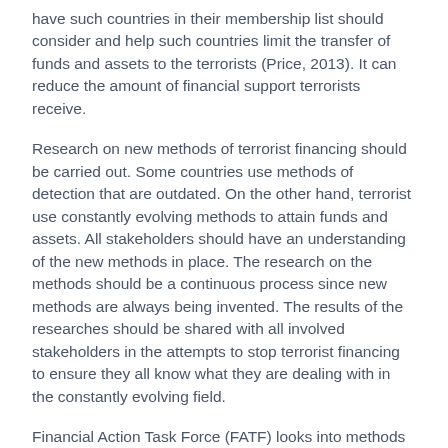have such countries in their membership list should consider and help such countries limit the transfer of funds and assets to the terrorists (Price, 2013). It can reduce the amount of financial support terrorists receive.
Research on new methods of terrorist financing should be carried out. Some countries use methods of detection that are outdated. On the other hand, terrorist use constantly evolving methods to attain funds and assets. All stakeholders should have an understanding of the new methods in place. The research on the methods should be a continuous process since new methods are always being invented. The results of the researches should be shared with all involved stakeholders in the attempts to stop terrorist financing to ensure they all know what they are dealing with in the constantly evolving field.
Financial Action Task Force (FATF) looks into methods of controlling terrorist financing. It comes up with effective standards that help curb terrorist financing. FATF should ensure that all countries effectively and efficiently implement the set standards to ensure that all countries are involved in